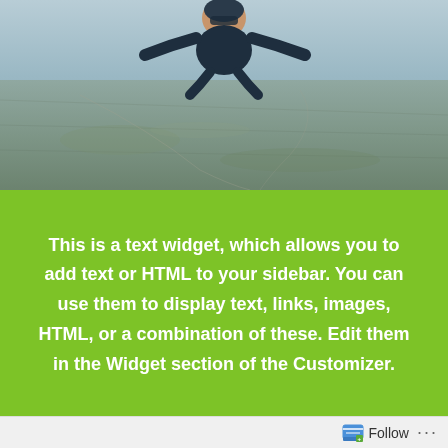[Figure (photo): A person skydiving, photographed from above showing the ground/landscape far below. The skydiver is at the top of the image, upside-down relative to the viewer, with a vast aerial landscape visible beneath.]
This is a text widget, which allows you to add text or HTML to your sidebar. You can use them to display text, links, images, HTML, or a combination of these. Edit them in the Widget section of the Customizer.
Friday, December 1, 2017